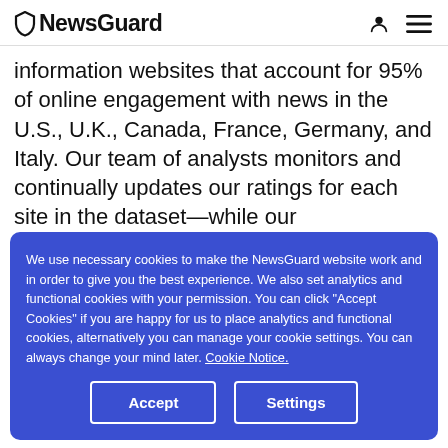NewsGuard
information websites that account for 95% of online engagement with news in the U.S., U.K., Canada, France, Germany, and Italy. Our team of analysts monitors and continually updates our ratings for each site in the dataset—while our
We use necessary cookies to make the NewsGuard website work and in order to give you the best experience. We also set analytics and functional cookies with your permission. You can click "Accept Cookies" if you are happy for us to place analytics and functional cookies, alternatively you can manage your cookie settings. You can always change your mind later. Cookie Notice.
Accept
Settings